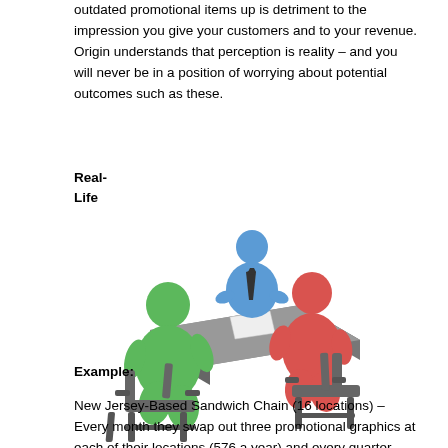outdated promotional items up is detriment to the impression you give your customers and to your revenue. Origin understands that perception is reality – and you will never be in a position of worrying about potential outcomes such as these.
Real-Life
[Figure (illustration): 3D illustration of a business meeting scene: a blue figure (interviewer/host) sitting behind a desk with a document on it, a green figure sitting on a chair to the left facing the desk, and a red figure sitting on a chair to the right facing the desk. All chairs and desk are dark grey.]
Example:
New Jersey-Based Sandwich Chain (16 locations) – Every month they swap out three promotional graphics at each of their locations (576 a year) and every quarter they swap out eight menu board graphics at